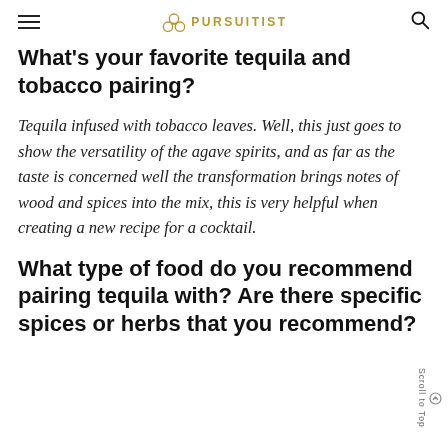PURSUITIST
What's your favorite tequila and tobacco pairing?
Tequila infused with tobacco leaves. Well, this just goes to show the versatility of the agave spirits, and as far as the taste is concerned well the transformation brings notes of wood and spices into the mix, this is very helpful when creating a new recipe for a cocktail.
What type of food do you recommend pairing tequila with? Are there specific spices or herbs that you recommend?